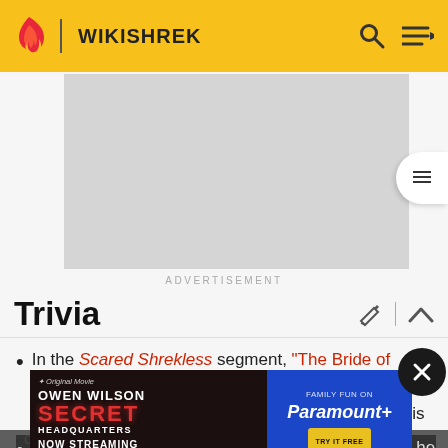WIKISHREK
[Figure (screenshot): Advertisement placeholder (gray rectangle)]
ADVERTISEMENT
Trivia
In the Scared Shrekless segment, "The Bride of Gingy", the Muffin Man's process in creating sentient sweets is fully revealed. This could hint that Gingy is not a creature from the Muffin Man alone, associated with other Monsters, the 1931 horror...
[Figure (screenshot): Owen Wilson Secret Headquarters Now Streaming - Paramount+ advertisement banner overlay]
He seems to be best friends with Pinocchio, whom he...